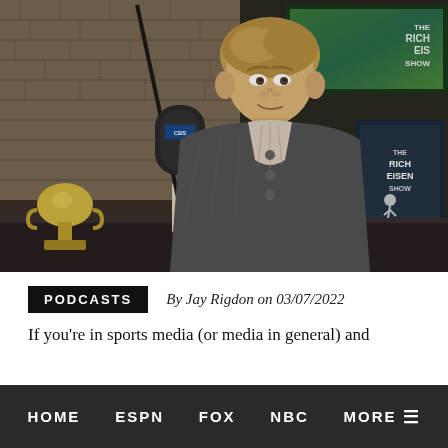[Figure (photo): A man with blonde hair wearing a grey cardigan sweater over a plaid shirt sits in a podcast/TV studio. He is in front of a microphone. The studio has stone walls and 'The Rich Eisen Show' branding visible on screens in the background. A trophy and mug are on the desk in front of him.]
PODCASTS   By Jay Rigdon on 03/07/2022
If you're in sports media (or media in general) and
HOME   ESPN   FOX   NBC   MORE